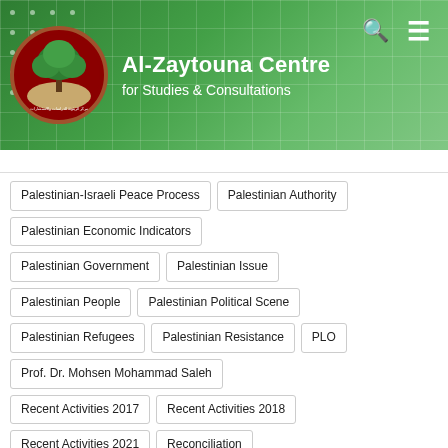Al-Zaytouna Centre for Studies & Consultations
Palestinian-Israeli Peace Process
Palestinian Authority
Palestinian Economic Indicators
Palestinian Government
Palestinian Issue
Palestinian People
Palestinian Political Scene
Palestinian Refugees
Palestinian Resistance
PLO
Prof. Dr. Mohsen Mohammad Saleh
Recent Activities 2017
Recent Activities 2018
Recent Activities 2021
Reconciliation
The Palestinian Political Scene
United States